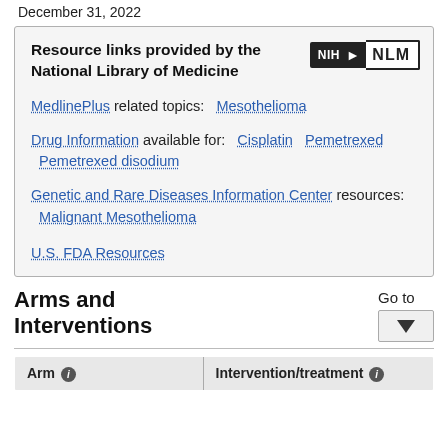December 31, 2022
Resource links provided by the National Library of Medicine
MedlinePlus related topics: Mesothelioma
Drug Information available for: Cisplatin  Pemetrexed  Pemetrexed disodium
Genetic and Rare Diseases Information Center resources: Malignant Mesothelioma
U.S. FDA Resources
Arms and Interventions
| Arm ⓘ | Intervention/treatment ⓘ |
| --- | --- |